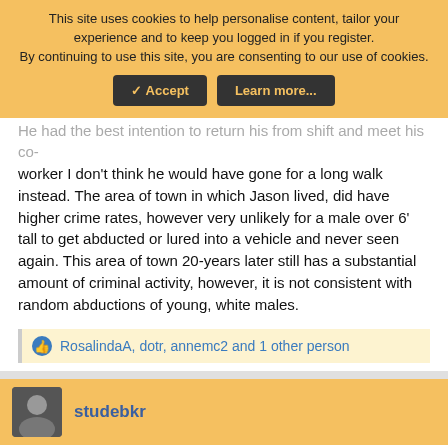This site uses cookies to help personalise content, tailor your experience and to keep you logged in if you register.
By continuing to use this site, you are consenting to our use of cookies.
✓ Accept | Learn more...
He had the best intention to return his from shift and meet his co-worker I don't think he would have gone for a long walk instead. The area of town in which Jason lived, did have higher crime rates, however very unlikely for a male over 6' tall to get abducted or lured into a vehicle and never seen again. This area of town 20-years later still has a substantial amount of criminal activity, however, it is not consistent with random abductions of young, white males.
RosalindaA, dotr, annemc2 and 1 other person
studebkr